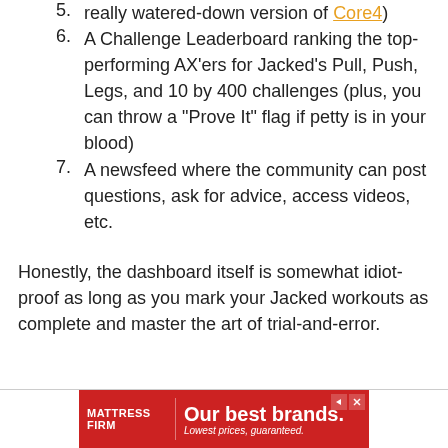really watered-down version of Core4)
A Challenge Leaderboard ranking the top-performing AX’ers for Jacked’s Pull, Push, Legs, and 10 by 400 challenges (plus, you can throw a “Prove It” flag if petty is in your blood)
A newsfeed where the community can post questions, ask for advice, access videos, etc.
Honestly, the dashboard itself is somewhat idiot-proof as long as you mark your Jacked workouts as complete and master the art of trial-and-error.
[Figure (other): Mattress Firm advertisement banner: red background with Mattress Firm logo on left, text 'Our best brands. Lowest prices, guaranteed.' in white]